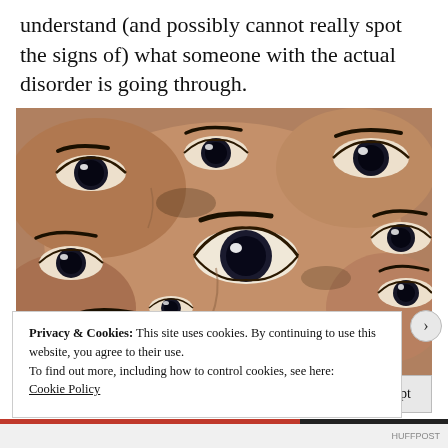understand (and possibly cannot really spot the signs of) what someone with the actual disorder is going through.
[Figure (photo): A surreal collage of multiple human faces and eyes overlapping and repeating, creating a disorienting pattern of eyes and eyebrows from different angles and distances.]
Privacy & Cookies: This site uses cookies. By continuing to use this website, you agree to their use.
To find out more, including how to control cookies, see here: Cookie Policy
Close and accept